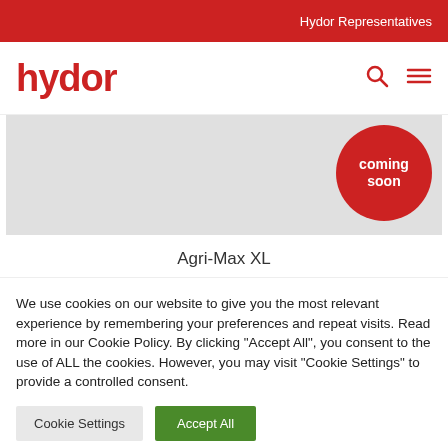Hydor Representatives
[Figure (logo): Hydor logo in red with search and menu icons]
[Figure (illustration): Product placeholder image with red 'coming soon' circular badge]
Agri-Max XL
We use cookies on our website to give you the most relevant experience by remembering your preferences and repeat visits. Read more in our Cookie Policy. By clicking "Accept All", you consent to the use of ALL the cookies. However, you may visit "Cookie Settings" to provide a controlled consent.